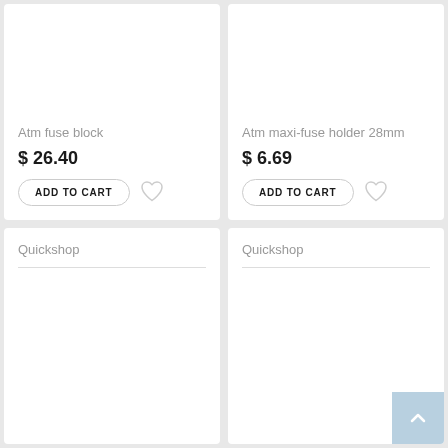Atm fuse block
$ 26.40
ADD TO CART
Atm maxi-fuse holder 28mm
$ 6.69
ADD TO CART
Quickshop
Quickshop